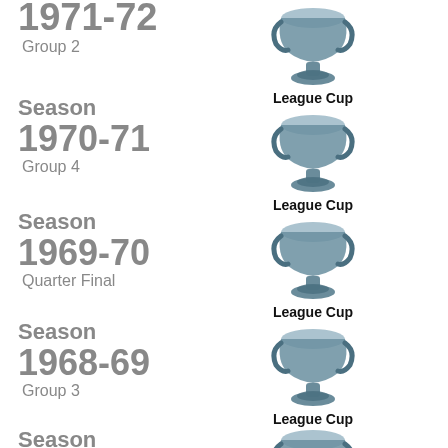1971-72
Group 2
[Figure (illustration): Trophy icon with League Cup label]
Season 1970-71
Group 4
[Figure (illustration): Trophy icon with League Cup label]
Season 1969-70
Quarter Final
[Figure (illustration): Trophy icon with League Cup label]
Season 1968-69
Group 3
[Figure (illustration): Trophy icon with League Cup label]
Season 1967-68
Group 2
[Figure (illustration): Trophy icon with League Cup label]
Season 1966-67